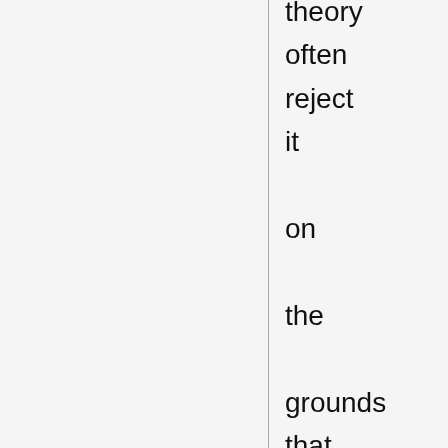theory often reject it on the grounds that it is non-falsifiable; in other words, it